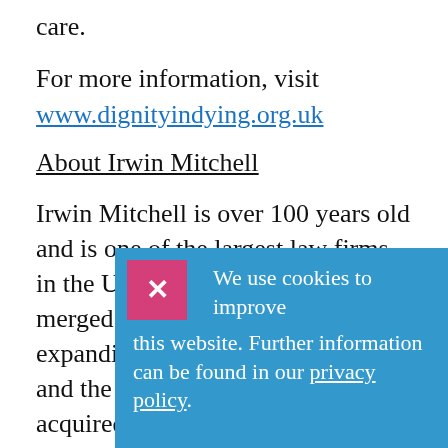care.
For more information, visit www.dignityindying.org.uk
About Irwin Mitchell
Irwin Mitchell is over 100 years old and is one of the largest law firms in the UK. Last year Irwin Mitchell merged with Thomas Eggar LLP expanding its presence in London and the South East and has also acquired spe Sol La The per i
We use cookies to improve this website. Further information can be found in our privacy policy.